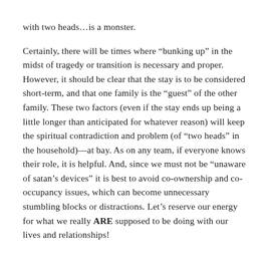with two heads…is a monster.

Certainly, there will be times where “bunking up” in the midst of tragedy or transition is necessary and proper. However, it should be clear that the stay is to be considered short-term, and that one family is the “guest” of the other family. These two factors (even if the stay ends up being a little longer than anticipated for whatever reason) will keep the spiritual contradiction and problem (of “two heads” in the household)—at bay. As on any team, if everyone knows their role, it is helpful. And, since we must not be “unaware of satan’s devices” it is best to avoid co-ownership and co-occupancy issues, which can become unnecessary stumbling blocks or distractions. Let’s reserve our energy for what we really ARE supposed to be doing with our lives and relationships!